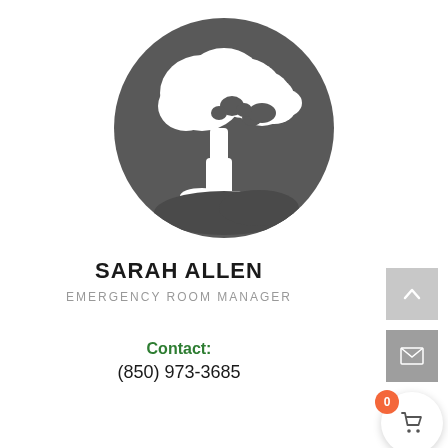[Figure (illustration): Circular profile image with dark grey background containing a white silhouette of a tree]
SARAH ALLEN
EMERGENCY ROOM MANAGER
Contact: (850) 973-3685